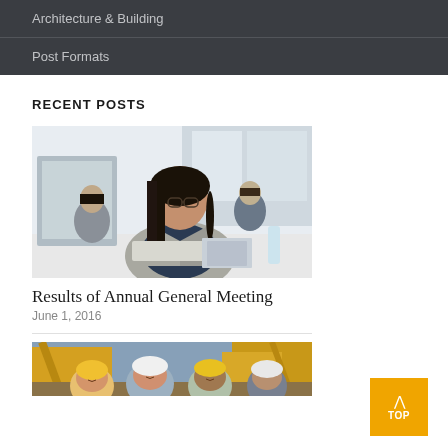Architecture & Building
Post Formats
RECENT POSTS
[Figure (photo): Woman in glasses and blazer working at a computer in a modern office with colleagues in background]
Results of Annual General Meeting
June 1, 2016
[Figure (photo): Group of construction workers wearing hard hats smiling, with yellow machinery in background]